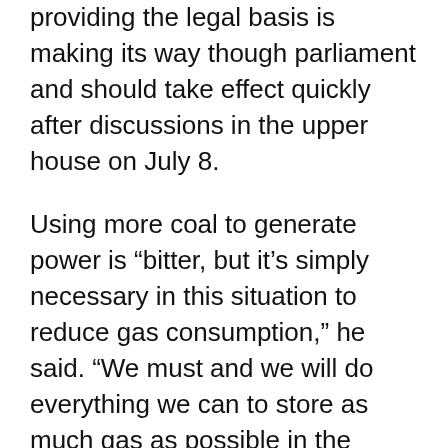providing the legal basis is making its way though parliament and should take effect quickly after discussions in the upper house on July 8.
Using more coal to generate power is “bitter, but it’s simply necessary in this situation to reduce gas consumption,” he said. “We must and we will do everything we can to store as much gas as possible in the summer and fall.”
Siegfried Russwurm, president of the German industry lobby group BDI, said the country should “stop gas-fired power generation now and get coal-fired power plants out of reserve immediately,” in an interview with Funke Mediengruppe